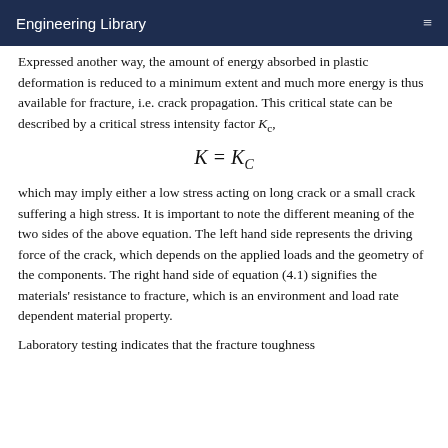Engineering Library
Expressed another way, the amount of energy absorbed in plastic deformation is reduced to a minimum extent and much more energy is thus available for fracture, i.e. crack propagation. This critical state can be described by a critical stress intensity factor Kc,
which may imply either a low stress acting on long crack or a small crack suffering a high stress. It is important to note the different meaning of the two sides of the above equation. The left hand side represents the driving force of the crack, which depends on the applied loads and the geometry of the components. The right hand side of equation (4.1) signifies the materials' resistance to fracture, which is an environment and load rate dependent material property.
Laboratory testing indicates that the fracture toughness